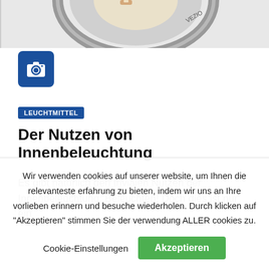[Figure (photo): Partial view of a round lamp/light fixture from above on grey background]
[Figure (illustration): Blue square camera icon]
LEUCHTMITTEL
Der Nutzen von Innenbeleuchtung
Es gibt natürlich den trivialen Nutzen der Innenbeleuchtung: Beleuchten! Doch dies ist nur ein
Wir verwenden cookies auf unserer website, um Ihnen die relevanteste erfahrung zu bieten, indem wir uns an Ihre vorlieben erinnern und besuche wiederholen. Durch klicken auf "Akzeptieren" stimmen Sie der verwendung ALLER cookies zu.
Cookie-Einstellungen   Akzeptieren